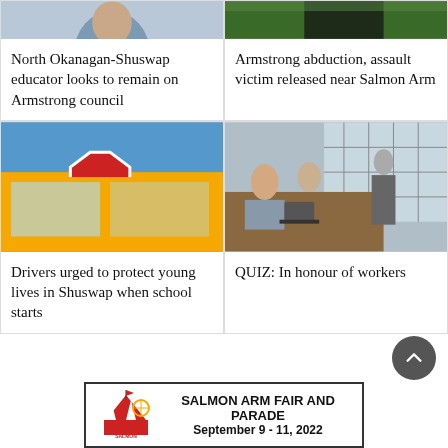[Figure (photo): Top portion of a person's face/head, likely a portrait photo cropped at top]
North Okanagan-Shuswap educator looks to remain on Armstrong council
[Figure (photo): Partial photo of a person outdoors with green background]
Armstrong abduction, assault victim released near Salmon Arm
[Figure (photo): School bus with a red STOP sign arm extended, blue sky background]
Drivers urged to protect young lives in Shuswap when school starts
[Figure (photo): Office meeting room with people seated at a table, one person standing presenting]
QUIZ: In honour of workers
[Figure (infographic): Advertisement banner for Salmon Arm Fair and Parade, September 9-11, 2022]